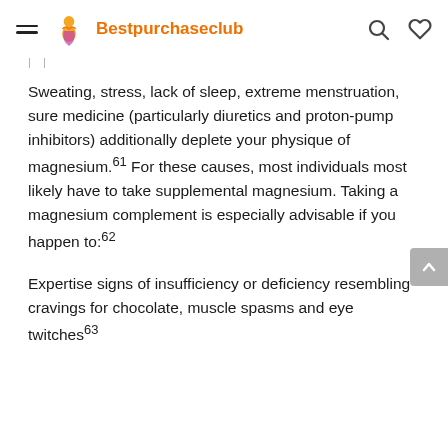Bestpurchaseclub
Sweating, stress, lack of sleep, extreme menstruation, sure medicine (particularly diuretics and proton-pump inhibitors) additionally deplete your physique of magnesium.61 For these causes, most individuals most likely have to take supplemental magnesium. Taking a magnesium complement is especially advisable if you happen to:62
Expertise signs of insufficiency or deficiency resembling cravings for chocolate, muscle spasms and eye twitches63